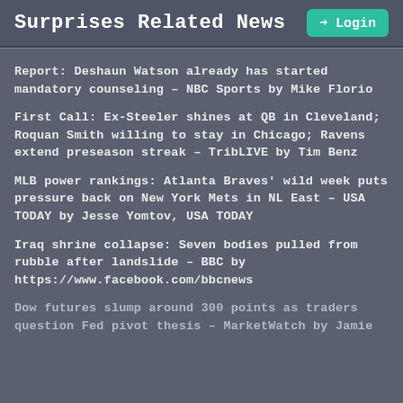Surprises Related News
Report: Deshaun Watson already has started mandatory counseling – NBC Sports by Mike Florio
First Call: Ex-Steeler shines at QB in Cleveland; Roquan Smith willing to stay in Chicago; Ravens extend preseason streak – TribLIVE by Tim Benz
MLB power rankings: Atlanta Braves' wild week puts pressure back on New York Mets in NL East – USA TODAY by Jesse Yomtov, USA TODAY
Iraq shrine collapse: Seven bodies pulled from rubble after landslide – BBC by https://www.facebook.com/bbcnews
Dow futures slump around 300 points as traders question Fed pivot thesis – MarketWatch by Jamie